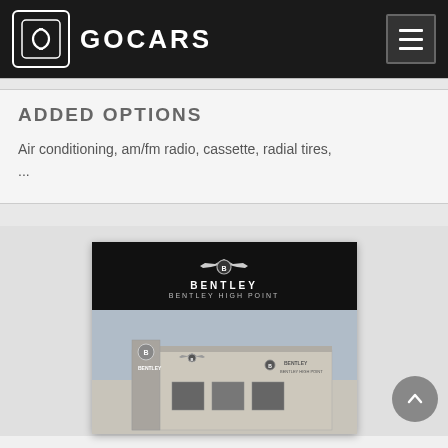GOCARS
ADDED OPTIONS
Air conditioning, am/fm radio, cassette, radial tires, ...
[Figure (photo): Bentley High Point dealership building photo with Bentley logo banner at top showing winged logo, 'BENTLEY' text, and 'BENTLEY HIGH POINT' subtitle. Below is a photo of the dealership exterior building.]